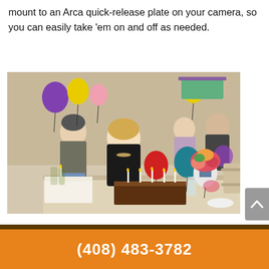mount to an Arca quick-release plate on your camera, so you can easily take 'em on and off as needed.
[Figure (photo): A birthday party scene indoors with a woman in black standing at a table with birthday cakes with candles lit. Several other people are visible in the background along with colorful balloons (purple, yellow, red, blue, teal, white) and a flower arrangement. A decorative stained-glass style lamp hangs from the ceiling. The table has food, drinks, and plates.]
(408) 483-3782